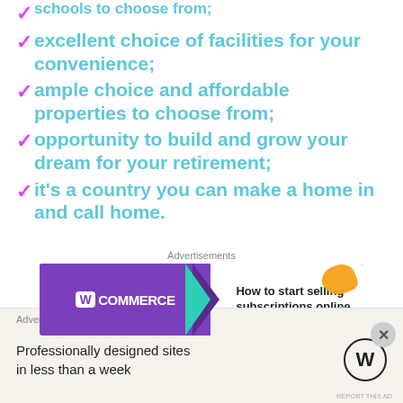✓ schools to choose from;
✓ excellent choice of facilities for your convenience;
✓ ample choice and affordable properties to choose from;
✓ opportunity to build and grow your dream for your retirement;
✓ it's a country you can make a home in and call home.
[Figure (screenshot): WooCommerce advertisement banner: 'How to start selling subscriptions online']
The above are merely some of the reasons to consider migrating to Malaysia. There are other attractive factors which are to be gained for an MM2M life/lifestyle. Or
[Figure (screenshot): WordPress advertisement: 'Professionally designed sites in less than a week']